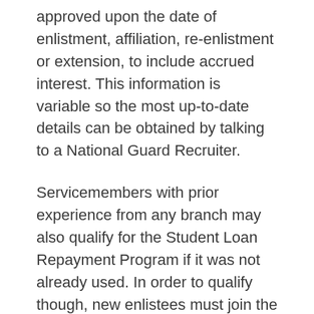approved upon the date of enlistment, affiliation, re-enlistment or extension, to include accrued interest. This information is variable so the most up-to-date details can be obtained by talking to a National Guard Recruiter.
Servicemembers with prior experience from any branch may also qualify for the Student Loan Repayment Program if it was not already used. In order to qualify though, new enlistees must join the Guard within 365 days of separating from active duty and must be under 16 years of total service.
Navy Student Loan Repayment Program (LRP)